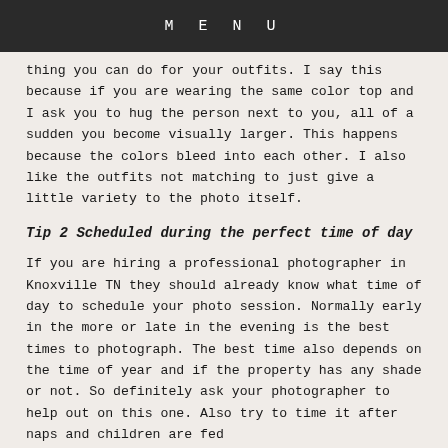MENU
thing you can do for your outfits. I say this because if you are wearing the same color top and I ask you to hug the person next to you, all of a sudden you become visually larger. This happens because the colors bleed into each other. I also like the outfits not matching to just give a little variety to the photo itself.
Tip 2 Scheduled during the perfect time of day
If you are hiring a professional photographer in Knoxville TN they should already know what time of day to schedule your photo session. Normally early in the more or late in the evening is the best times to photograph. The best time also depends on the time of year and if the property has any shade or not. So definitely ask your photographer to help out on this one. Also try to time it after naps and children are fed